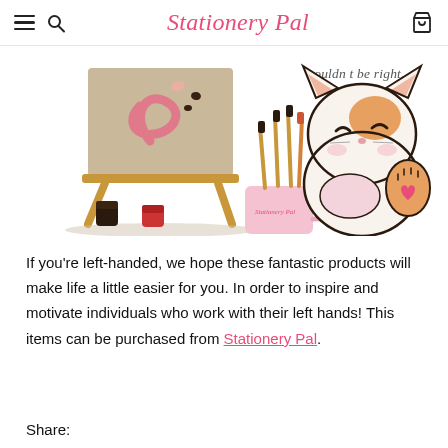Stationery Pal
[Figure (illustration): Kawaii illustration showing an art easel with a canvas painted with a pink swirly S, paint brushes in a pink mug labeled 'Stationery Pal', small paint jars, and a cute cartoon cat waving with text 'wouldn t be right.' above it]
If you're left-handed, we hope these fantastic products will make life a little easier for you. In order to inspire and motivate individuals who work with their left hands! This items can be purchased from Stationery Pal.
Share: